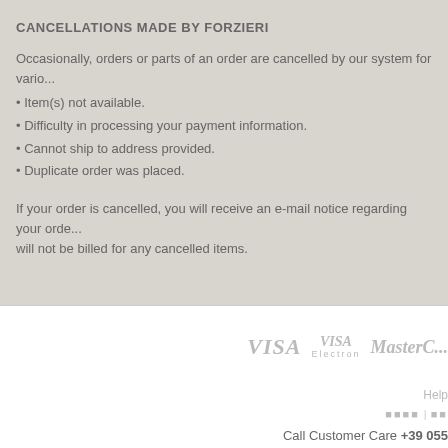CANCELLATIONS MADE BY FORZIERI
Occasionally, orders or parts of an order are cancelled by our system for vario...
• Item(s) not available.
• Difficulty in processing your payment information.
• Cannot ship to address provided.
• Duplicate order was placed.
If your order is cancelled, you will receive an e-mail notice regarding your orde... will not be billed for any cancelled items.
[Figure (logo): Payment logos: VISA, VISA Electron, Mastercard]
Help
language options | ...
Call Customer Care +39 055
© Forzieri - All Rights Re...